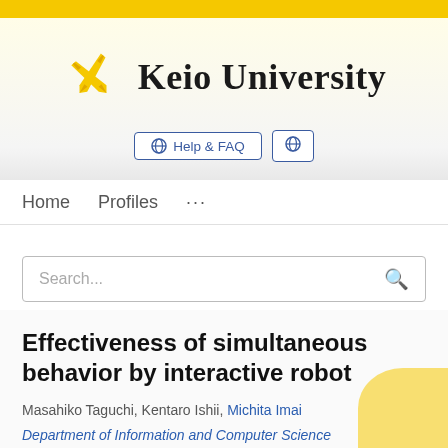[Figure (logo): Keio University logo with crossed golden pen nibs icon and serif university name text]
Help & FAQ
Home   Profiles   ...
Search...
Effectiveness of simultaneous behavior by interactive robot
Masahiko Taguchi, Kentaro Ishii, Michita Imai
Department of Information and Computer Science